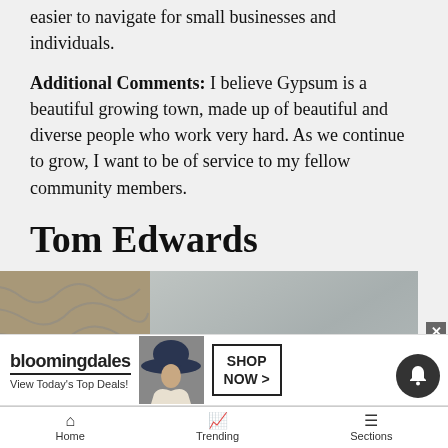easier to navigate for small businesses and individuals.
Additional Comments: I believe Gypsum is a beautiful growing town, made up of beautiful and diverse people who work very hard. As we continue to grow, I want to be of service to my fellow community members.
Tom Edwards
[Figure (photo): Portrait photo of Tom Edwards, showing the top of a person's head with blonde/gray hair against a textured background]
[Figure (screenshot): Bloomingdale's advertisement banner: 'bloomingdales / View Today's Top Deals!' with woman in hat and 'SHOP NOW >' button]
Home   Trending   Sections